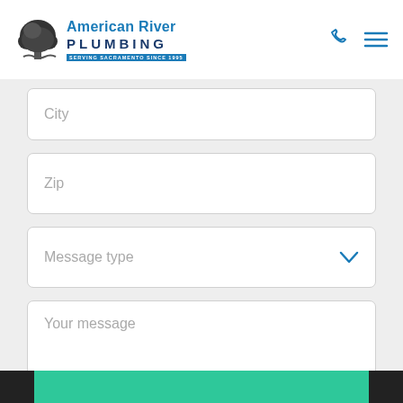[Figure (logo): American River Plumbing logo with tree icon and text 'American River PLUMBING - Serving Sacramento Since 1995']
City
Zip
Message type
Your message